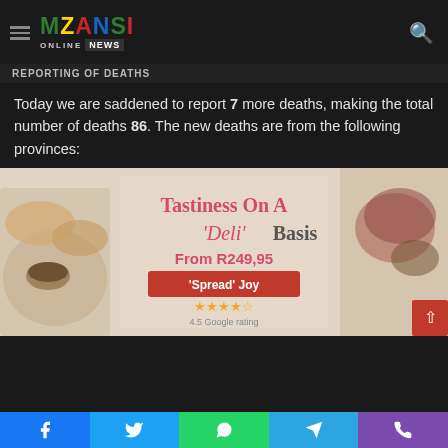Mzansi Online News
REPORTING OF DEATHS
Today we are saddened to report 7 more deaths, making the total number of deaths 86. The new deaths are from the following provinces:
[Figure (advertisement): Food advertisement: Tastiness On A 'Deli' Basis, From R249,95, 'Spread' Joy, 4.5 Google rating. Shows charcuterie/deli food items.]
Facebook, Twitter, WhatsApp, Telegram, Phone